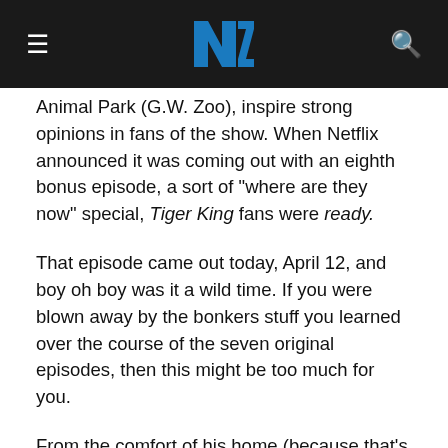NZ [logo]
Animal Park (G.W. Zoo), inspire strong opinions in fans of the show. When Netflix announced it was coming out with an eighth bonus episode, a sort of "where are they now" special, Tiger King fans were ready.
That episode came out today, April 12, and boy oh boy was it a wild time. If you were blown away by the bonkers stuff you learned over the course of the seven original episodes, then this might be too much for you.
From the comfort of his home (because that's how things have to work right now) comedian and actor Joel McHale interviewed some of the main characters from the series, and they revealed things that we didn't know about the show. Here are 11 takeaways from the episode, from revelations to updates on where all those people are (except Joe "Exotic"